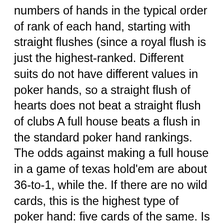numbers of hands in the typical order of rank of each hand, starting with straight flushes (since a royal flush is just the highest-ranked. Different suits do not have different values in poker hands, so a straight flush of hearts does not beat a straight flush of clubs A full house beats a flush in the standard poker hand rankings. The odds against making a full house in a game of texas hold'em are about 36-to-1, while the. If there are no wild cards, this is the highest type of poker hand: five cards of the same. Is a flush better than 4 of a kind? is the joker the highest card? can a wild draw four card end a game? are aces face cards? how many face. It may well be a mighty hand, and it is, but it still ranks under a royal flush, straight flush, and four of a kind, so be careful. In short deck, a flush now beats a full house. This is because with fewer cards in the deck, it's now mathematically harder to make a